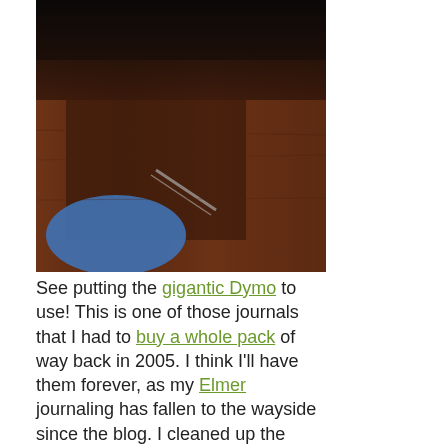[Figure (photo): A close-up photo showing a journal/book on a wooden surface with a blue object, shot in dark/moody lighting.]
See putting the gigantic Dymo to use! This is one of those journals that I had to buy a whole pack of way back in 2005. I think I'll have them forever, as my Elmer journaling has fallen to the wayside since the blog. I cleaned up the studio. I have a few things I want to do in here before I take more pictures of it's new